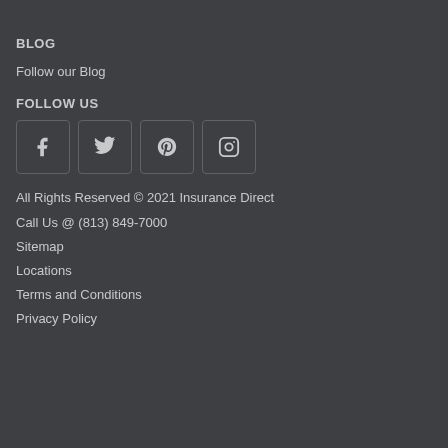BLOG
Follow our Blog
FOLLOW US
[Figure (infographic): Social media icons row: Facebook, Twitter, Pinterest, Instagram — each in a rounded square border]
All Rights Reserved © 2021 Insurance Direct
Call Us @ (813) 849-7000
Sitemap
Locations
Terms and Conditions
Privacy Policy